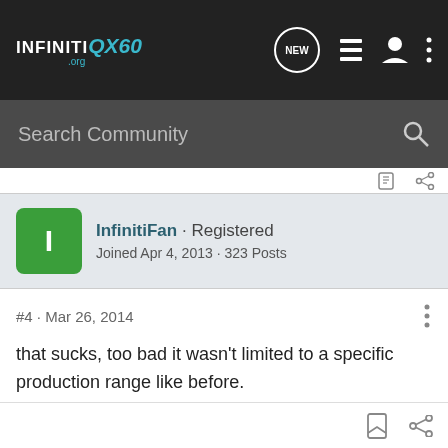INFINITI QX60 .org — NEW — [list icon] [user icon] [more icon]
Search Community
[Figure (screenshot): Small bookmark and share icons in a top divider bar]
InfinitiFan · Registered
Joined Apr 4, 2013 · 323 Posts
#4 · Mar 26, 2014
that sucks, too bad it wasn't limited to a specific production range like before.
[bookmark icon] [share icon]